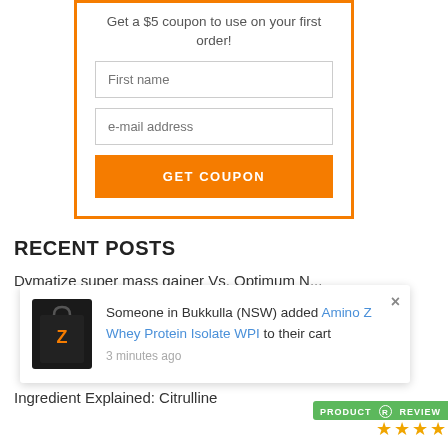Get a $5 coupon to use on your first order!
[Figure (screenshot): Form with First name input, e-mail address input, and GET COUPON orange button inside an orange-bordered box]
RECENT POSTS
Dymatize super mass gainer Vs. Optimum N...
[Figure (screenshot): Popup notification: Someone in Bukkulla (NSW) added Amino Z Whey Protein Isolate WPI to their cart, 3 minutes ago, with product bag image and close button]
Ingredient Explained: Citrulline
[Figure (logo): Product Review badge with green background and star rating (4 stars shown)]